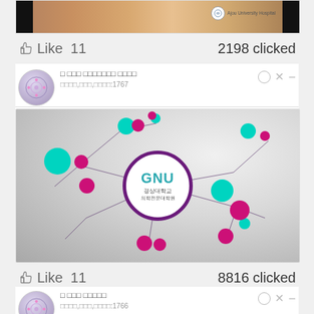[Figure (screenshot): Top portion of a social media post showing a skin/medical image with 'Ajou University Hospital' logo on the right, black bars on sides]
👍 Like  11                                    2198 clicked
□ □□□ □□□□□□□ □□□□
□□□□,□□□,□□□□:1767
[Figure (illustration): GNU 경상대학교 의학전문대학원 network logo image with teal and magenta nodes connected by lines on silver/gray background]
👍 Like  11                                    8816 clicked
□ □□□ □□□□□
□□□□,□□□,□□□□:1766